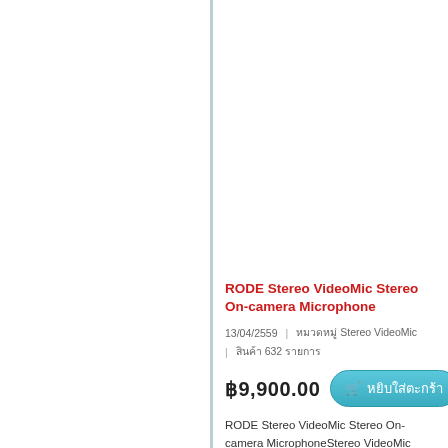RODE Stereo VideoMic Stereo On-camera Microphone
13/04/2559 | หมวดหมู่ Stereo VideoMic | สินค้า 632 รายการ
฿9,900.00
RODE Stereo VideoMic Stereo On-camera MicrophoneStereo VideoMic SpecificationsAcoustic PrinciplePres......
อ่านต่อ